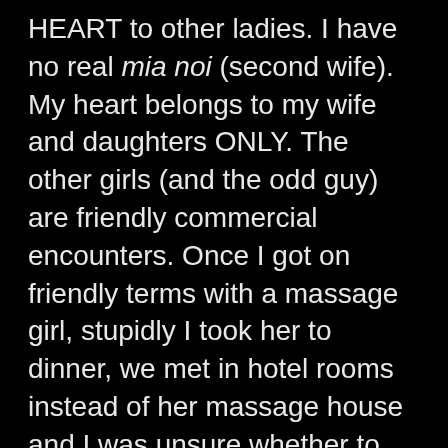HEART to other ladies. I have no real mia noi (second wife). My heart belongs to my wife and daughters ONLY. The other girls (and the odd guy) are friendly commercial encounters. Once I got on friendly terms with a massage girl, stupidly I took her to dinner, we met in hotel rooms instead of her massage house and I was unsure whether to pay or not afterwards because she seemed to like me a lot and I liked her too. I had to get rid of her because we got too close. I never pondered keeping her as a mia noi. One family is enough. My HEART is NOT big enough for two women, only the other organ can't get enough.
Anyway, I do need to do the procreation act (as pointed out, every 20 minutes or so) and Thailand